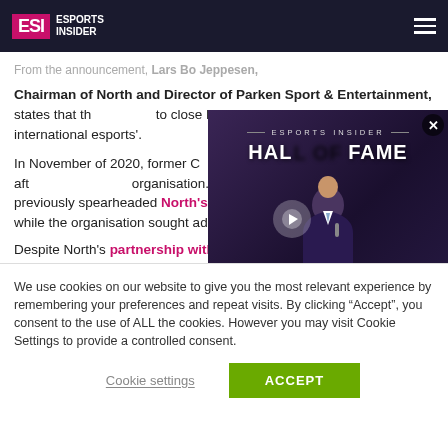ESI Esports Insider
From the announcement, Lars Bo Jeppesen, Chairman of North and Director of Parken Sport & Entertainment, states that the decision to close North', which has made a mark on international esports'.
[Figure (screenshot): ESI Esports Insider Hall of Fame video thumbnail with a person in a suit and caption 'Chris Puckett, ESI Hall of Fame 2018 Inductee']
In November of 2020, former CEO Asbjørn Håkonsson stepped down after years with the organisation. Alexander Pedersen, who previously spearheaded North's rebrand, stepped in as interim CEO while the organisation sought additional investment.

Despite North's partnership with YouGov, Danish computer manufacturer MM Vision, Swedish energy
We use cookies on our website to give you the most relevant experience by remembering your preferences and repeat visits. By clicking "Accept", you consent to the use of ALL the cookies. However you may visit Cookie Settings to provide a controlled consent.